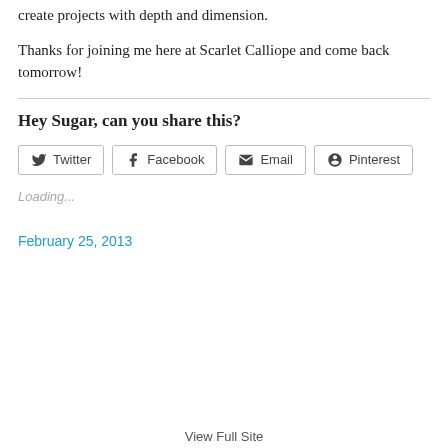create projects with depth and dimension.
Thanks for joining me here at Scarlet Calliope and come back tomorrow!
Hey Sugar, can you share this?
Twitter  Facebook  Email  Pinterest
Loading...
February 25, 2013
View Full Site